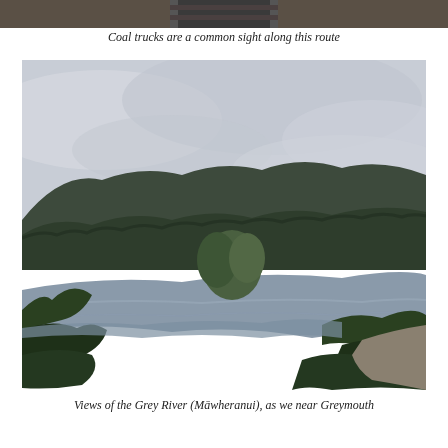[Figure (photo): Partial view of coal truck/rail tracks, cropped at top of page]
Coal trucks are a common sight along this route
[Figure (photo): Landscape photo showing the Grey River (Māwheranui) with hills, trees, and overcast sky as the train nears Greymouth]
Views of the Grey River (Māwheranui), as we near Greymouth